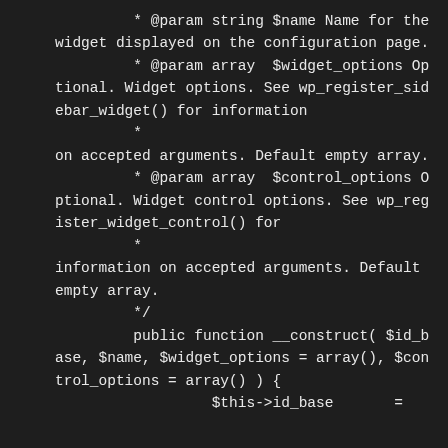* @param string $name Name for the widget displayed on the configuration page.
         * @param array  $widget_options Optional. Widget options. See wp_register_sidebar_widget() for information
         *
on accepted arguments. Default empty array.
         * @param array  $control_options Optional. Widget control options. See wp_register_widget_control() for
         *
information on accepted arguments. Default empty array.
         */
         public function __construct( $id_base, $name, $widget_options = array(), $control_options = array() ) {
                  $this->id_base       =